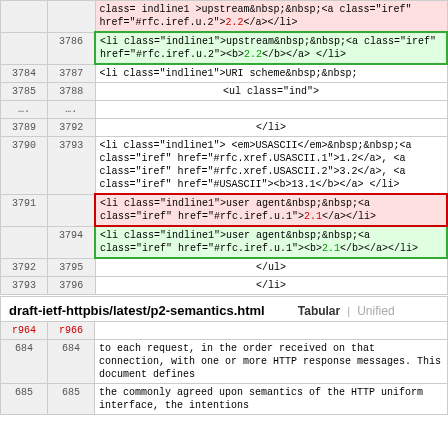| old | new | content |
| --- | --- | --- |
|  |  | class="indline1">upstream&nbsp;&nbsp;<a class="iref" href="#rfc.iref.u.2">2.2</a></li> |
|  | 3786 | <li class="indline1">upstream&nbsp;&nbsp;<a class="iref" href="#rfc.iref.u.2"><b>2.2</b></a></li> |
| 3784 | 3787 | <li class="indline1">URI scheme&nbsp;&nbsp; |
| 3785 | 3788 | <ul class="ind"> |
| .... | .... |  |
| 3789 | 3792 | </li> |
| 3790 | 3793 | <li class="indline1"><em>USASCII</em>&nbsp;&nbsp;<a class="iref" href="#rfc.xref.USASCII.1">1.2</a>, <a class="iref" href="#rfc.xref.USASCII.2">3.2</a>, <a class="iref" href="#USASCII"><b>13.1</b></a></li> |
| 3791 |  | <li class="indline1">user agent&nbsp;&nbsp;<a class="iref" href="#rfc.iref.u.1">2.1</a></li> |
|  | 3794 | <li class="indline1">user agent&nbsp;&nbsp;<a class="iref" href="#rfc.iref.u.1"><b>2.1</b></a></li> |
| 3792 | 3795 | </ul> |
| 3793 | 3796 | </li> |
draft-ietf-httpbis/latest/p2-semantics.html   Tabular | Unified
| old | new | content |
| --- | --- | --- |
| r964 | r966 |  |
| 684 | 684 | to each request, in the order received on that connection, with one or more HTTP response messages. This document defines |
| 685 | 685 | the commonly agreed upon semantics of the HTTP uniform interface, the intentions |